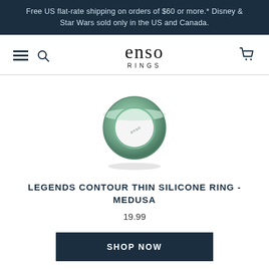Free US flat-rate shipping on orders of $60 or more.* Disney & Star Wars sold only in the US and Canada.
[Figure (logo): Enso Rings logo with hamburger menu, search icon, and cart icon in navigation bar]
[Figure (photo): A slim sage/mint green silicone ring (Legends Contour Thin Silicone Ring in Medusa colorway) shown at an angle with 'enso' text on the inner face]
LEGENDS CONTOUR THIN SILICONE RING - MEDUSA
19.99
SHOP NOW